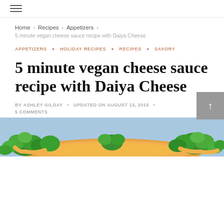≡ (hamburger menu icon)
Home › Recipes › Appetizers ›
5 minute vegan cheese sauce recipe with Daiya Cheese
APPETIZERS • HOLIDAY RECIPES • RECIPES • SAVORY
5 minute vegan cheese sauce recipe with Daiya Cheese
BY ASHLEY GILDAY • UPDATED ON AUGUST 13, 2015 • 5 COMMENTS
[Figure (photo): Photo of vegan cheese sauce poured over broccoli florets on a blue background]